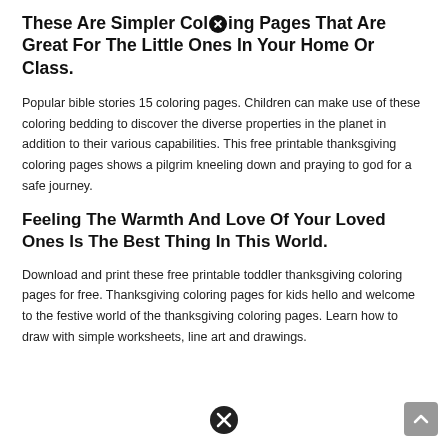These Are Simpler Coloring Pages That Are Great For The Little Ones In Your Home Or Class.
Popular bible stories 15 coloring pages. Children can make use of these coloring bedding to discover the diverse properties in the planet in addition to their various capabilities. This free printable thanksgiving coloring pages shows a pilgrim kneeling down and praying to god for a safe journey.
Feeling The Warmth And Love Of Your Loved Ones Is The Best Thing In This World.
Download and print these free printable toddler thanksgiving coloring pages for free. Thanksgiving coloring pages for kids hello and welcome to the festive world of the thanksgiving coloring pages. Learn how to draw with simple worksheets, line art and drawings.